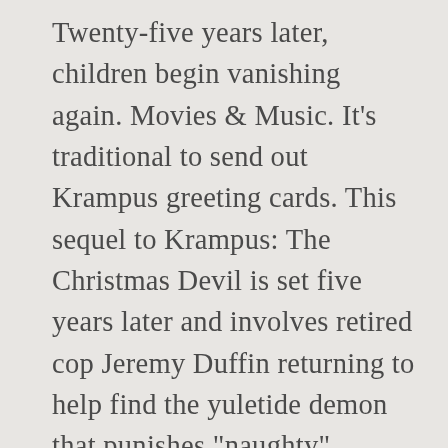Twenty-five years later, children begin vanishing again. Movies & Music. It’s traditional to send out Krampus greeting cards. This sequel to Krampus: The Christmas Devil is set five years later and involves retired cop Jeremy Duffin returning to help find the yuletide demon that punishes “naughty” children. Der Krampus (1969) is another German TV movie that addresses the Krampus legend. By subscribing, you agree to the terms of our Privacy Policy. Current Deals. The aggressive DTS HD-MA 5.1 sound adds lots of atmosphere. Easily the most disturbing film on the list, this 2004 Belgian psychological horror certainly isn’t one to